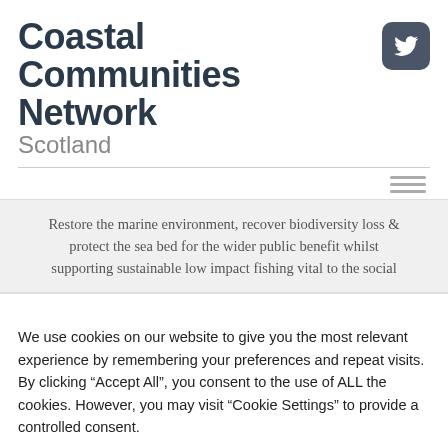Coastal Communities Network Scotland
Restore the marine environment, recover biodiversity loss & protect the sea bed for the wider public benefit whilst supporting sustainable low impact fishing vital to the social
We use cookies on our website to give you the most relevant experience by remembering your preferences and repeat visits. By clicking "Accept All", you consent to the use of ALL the cookies. However, you may visit "Cookie Settings" to provide a controlled consent.